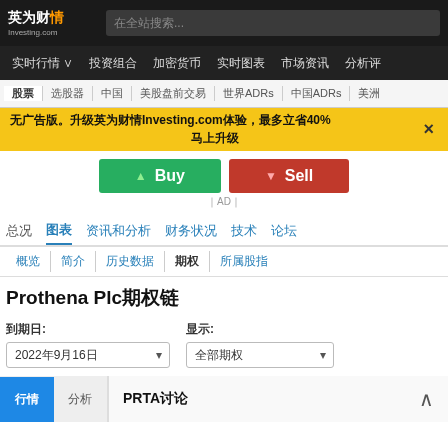英为财情 Investing.com — 在全站搜索...
实时行情 投资组合 加密货币 实时图表 市场资讯 分析评论
股票 选股器 中国 美股盘前交易 世界ADRs 中国ADRs 美洲
无广告版。升级英为财情Investing.com体验，最多立省40%
马上升级
[Figure (other): Buy/Sell advertisement buttons — green Buy button and red Sell button]
总况 图表 资讯和分析 财务状况 技术 论坛
概览 | 简介 | 历史数据 | 期权 | 所属股指
Prothena Plc期权链
到期日: 2022年9月16日
显示: 全部期权
PRTA讨论